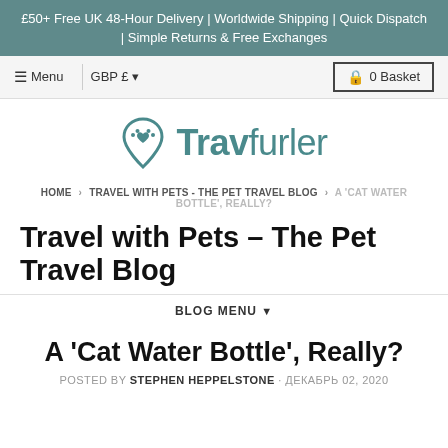£50+ Free UK 48-Hour Delivery | Worldwide Shipping | Quick Dispatch | Simple Returns & Free Exchanges
Menu  GBP £ ▼  0 Basket
[Figure (logo): Travfurler logo with heart-paw icon and teal text]
HOME › TRAVEL WITH PETS - THE PET TRAVEL BLOG › A 'CAT WATER BOTTLE', REALLY?
Travel with Pets - The Pet Travel Blog
BLOG MENU ▼
A 'Cat Water Bottle', Really?
POSTED BY STEPHEN HEPPELSTONE · ДЕКАБРЬ 02, 2020